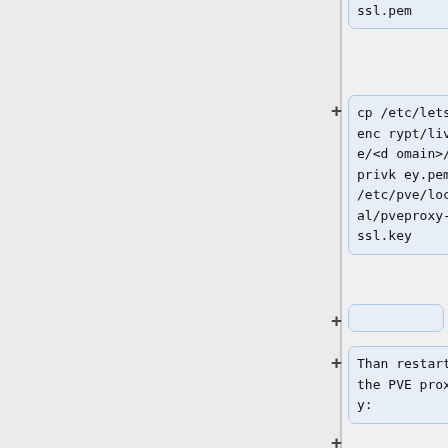al/pveproxy-ssl.pem
cp /etc/letsencrypt/live/<domain>/privkey.pem /etc/pve/local/pveproxy-ssl.key
Than restart the PVE proxy:
systemctl restart pveproxy